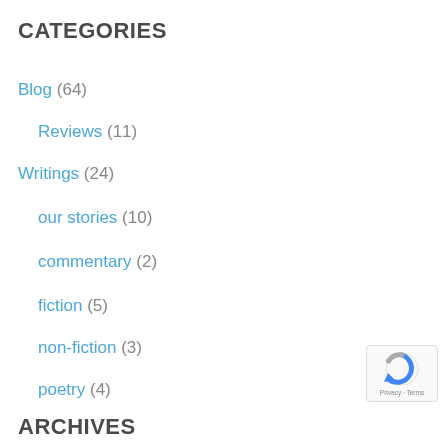CATEGORIES
Blog (64)
Reviews (11)
Writings (24)
our stories (10)
commentary (2)
fiction (5)
non-fiction (3)
poetry (4)
[Figure (logo): reCAPTCHA badge with Privacy and Terms text]
ARCHIVES